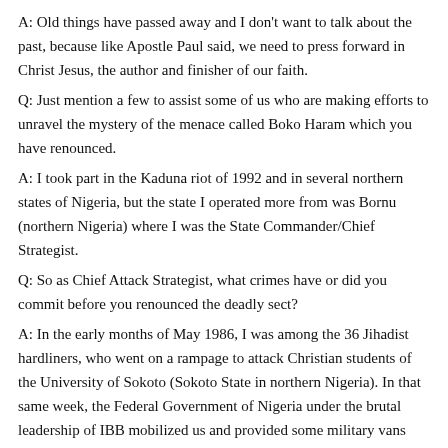A: Old things have passed away and I don't want to talk about the past, because like Apostle Paul said, we need to press forward in Christ Jesus, the author and finisher of our faith.
Q: Just mention a few to assist some of us who are making efforts to unravel the mystery of the menace called Boko Haram which you have renounced.
A: I took part in the Kaduna riot of 1992 and in several northern states of Nigeria, but the state I operated more from was Bornu (northern Nigeria) where I was the State Commander/Chief Strategist.
Q: So as Chief Attack Strategist, what crimes have or did you commit before you renounced the deadly sect?
A: In the early months of May 1986, I was among the 36 Jihadist hardliners, who went on a rampage to attack Christian students of the University of Sokoto (Sokoto State in northern Nigeria). In that same week, the Federal Government of Nigeria under the brutal leadership of IBB mobilized us and provided some military vans and Army uniforms which our men used and started killing innocent and defenseless Christians all over the Northern states. I and the son of the Emir of Kano, who is now a Christian by name Rev. Paul Ado Bayero, were among the Muslim fanatics who razed down the sculpture of Jesus at the University of Ibadan (Oyo State in western Nigeria).